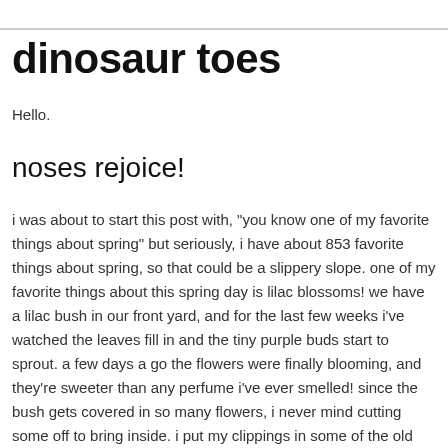dinosaur toes
Hello.
noses rejoice!
i was about to start this post with, "you know one of my favorite things about spring" but seriously, i have about 853 favorite things about spring, so that could be a slippery slope. one of my favorite things about this spring day is lilac blossoms! we have a lilac bush in our front yard, and for the last few weeks i've watched the leaves fill in and the tiny purple buds start to sprout. a few days a go the flowers were finally blooming, and they're sweeter than any perfume i've ever smelled! since the bush gets covered in so many flowers, i never mind cutting some off to bring inside. i put my clippings in some of the old bottles i got the other week, and they look so pretty i wish they'd stay that way for the rest of the year!